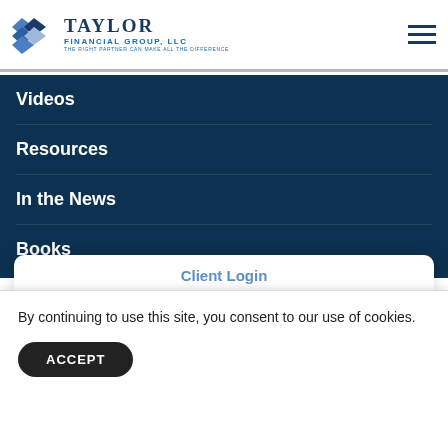[Figure (logo): Taylor Financial Group LLC logo with diamond pattern and tagline 'The Right Partner Can Make All the Difference']
Videos
Resources
In the News
Books
Worksheets
Client Login
By continuing to use this site, you consent to our use of cookies.
ACCEPT